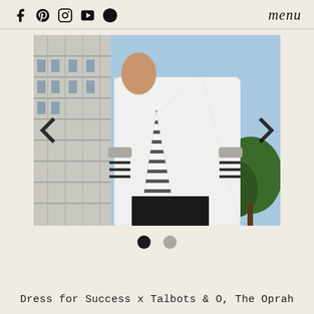f  pinterest  instagram  youtube  [icon]   menu
[Figure (photo): A person wearing a white blazer over a black and white striped top with black pants, photographed outdoors near a modern building with a blue sky and trees in the background. Carousel navigation arrows on left and right sides.]
Dress for Success x Talbots & O, The Oprah